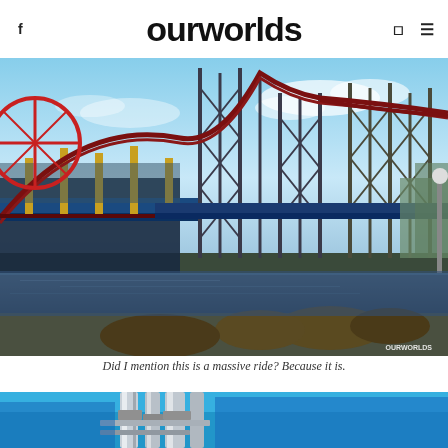ourworlds
[Figure (photo): Photograph of a large steel roller coaster structure with a blue sky background, water in the foreground, and yellow/blue track supports visible. Watermark reads OURWORLDS in bottom right.]
Did I mention this is a massive ride? Because it is.
[Figure (photo): Partial bottom photo showing metallic pipes/tubes against a bright blue sky background, cropped at bottom of page.]